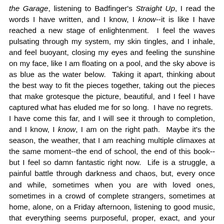the Garage, listening to Badfinger's Straight Up, I read the words I have written, and I know, I know--it is like I have reached a new stage of enlightenment.  I feel the waves pulsating through my system, my skin tingles, and I inhale, and feel buoyant, closing my eyes and feeling the sunshine on my face, like I am floating on a pool, and the sky above is as blue as the water below.  Taking it apart, thinking about the best way to fit the pieces together, taking out the pieces that make grotesque the picture, beautiful, and I feel I have captured what has eluded me for so long.  I have no regrets.  I have come this far, and I will see it through to completion, and I know, I know, I am on the right path.  Maybe it's the season, the weather, that I am reaching multiple climaxes at the same moment--the end of school, the end of this book--but I feel so damn fantastic right now.  Life is a struggle, a painful battle through darkness and chaos, but, every once and while, sometimes when you are with loved ones, sometimes in a crowd of complete strangers, sometimes at home, alone, on a Friday afternoon, listening to good music, that everything seems purposeful, proper, exact, and your struggles seem worthwhile.  While it might be a momentary reprieve from the chaos, but it is in those moments, those